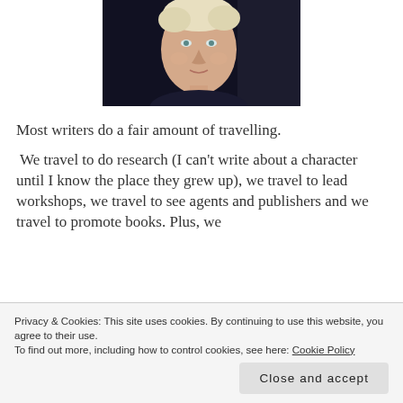[Figure (photo): Portrait photo of a woman with short blonde/white hair against a dark background, wearing a dark top.]
Most writers do a fair amount of travelling.
We travel to do research (I can't write about a character until I know the place they grew up), we travel to lead workshops, we travel to see agents and publishers and we travel to promote books. Plus, we
Privacy & Cookies: This site uses cookies. By continuing to use this website, you agree to their use.
To find out more, including how to control cookies, see here: Cookie Policy
Close and accept